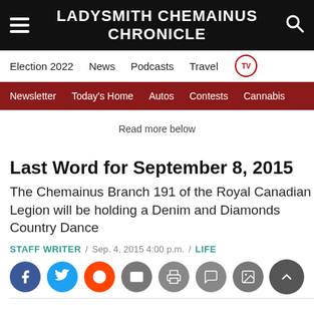LADYSMITH CHEMAINUS CHRONICLE
Election 2022 | News | Podcasts | Travel | TV
Newsletter | Today's Home | Autos | Contests | Cannabis
Read more below
Last Word for September 8, 2015
The Chemainus Branch 191 of the Royal Canadian Legion will be holding a Denim and Diamonds Country Dance
STAFF WRITER / Sep. 4, 2015 4:00 p.m. / LIFE